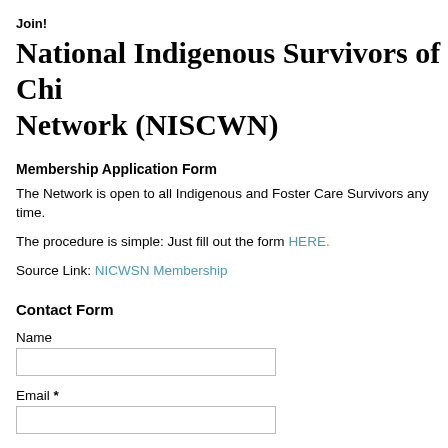Join!
National Indigenous Survivors of Chi… Network (NISCWN)
Membership Application Form
The Network is open to all Indigenous and Foster Care Survivors any time.
The procedure is simple: Just fill out the form HERE.
Source Link: NICWSN Membership
Contact Form
Name
Email *
Message *